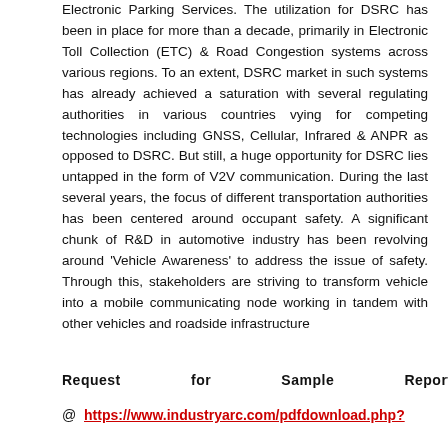Electronic Parking Services. The utilization for DSRC has been in place for more than a decade, primarily in Electronic Toll Collection (ETC) & Road Congestion systems across various regions. To an extent, DSRC market in such systems has already achieved a saturation with several regulating authorities in various countries vying for competing technologies including GNSS, Cellular, Infrared & ANPR as opposed to DSRC. But still, a huge opportunity for DSRC lies untapped in the form of V2V communication. During the last several years, the focus of different transportation authorities has been centered around occupant safety. A significant chunk of R&D in automotive industry has been revolving around 'Vehicle Awareness' to address the issue of safety. Through this, stakeholders are striving to transform vehicle into a mobile communicating node working in tandem with other vehicles and roadside infrastructure
Request for Sample Report @ https://www.industryarc.com/pdfdownload.php?